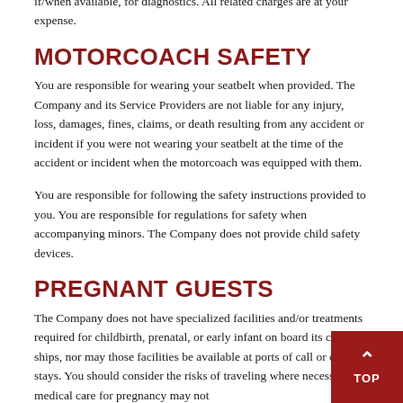if/when available, for diagnostics. All related charges are at your expense.
MOTORCOACH SAFETY
You are responsible for wearing your seatbelt when provided. The Company and its Service Providers are not liable for any injury, loss, damages, fines, claims, or death resulting from any accident or incident if you were not wearing your seatbelt at the time of the accident or incident when the motorcoach was equipped with them.
You are responsible for following the safety instructions provided to you. You are responsible for regulations for safety when accompanying minors. The Company does not provide child safety devices.
PREGNANT GUESTS
The Company does not have specialized facilities and/or treatments required for childbirth, prenatal, or early infant on board its cruise ships, nor may those facilities be available at ports of call or on land stays. You should consider the risks of traveling where necessary medical care for pregnancy may not